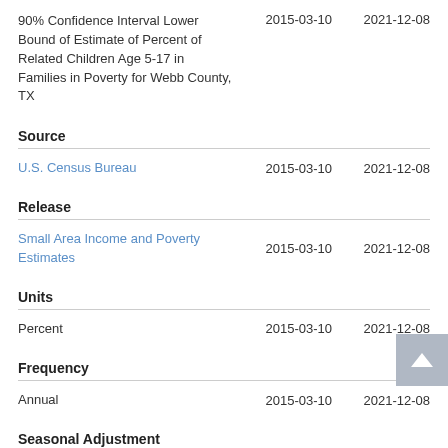90% Confidence Interval Lower Bound of Estimate of Percent of Related Children Age 5-17 in Families in Poverty for Webb County, TX    2015-03-10   2021-12-08
Source
U.S. Census Bureau    2015-03-10   2021-12-08
Release
Small Area Income and Poverty Estimates    2015-03-10   2021-12-08
Units
Percent    2015-03-10   2021-12-08
Frequency
Annual    2015-03-10   2021-12-08
Seasonal Adjustment
Not Seasonally Adjusted    2015-03-10   2021-12-08